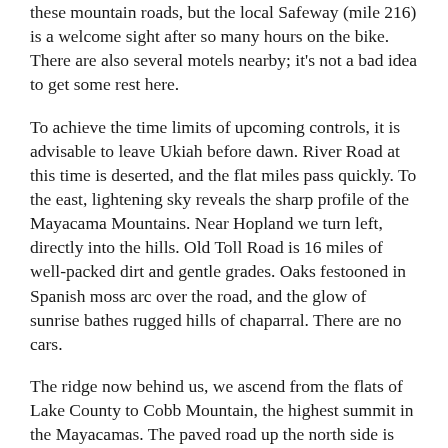these mountain roads, but the local Safeway (mile 216) is a welcome sight after so many hours on the bike. There are also several motels nearby; it's not a bad idea to get some rest here.
To achieve the time limits of upcoming controls, it is advisable to leave Ukiah before dawn. River Road at this time is deserted, and the flat miles pass quickly. To the east, lightening sky reveals the sharp profile of the Mayacama Mountains. Near Hopland we turn left, directly into the hills. Old Toll Road is 16 miles of well-packed dirt and gentle grades. Oaks festooned in Spanish moss arc over the road, and the glow of sunrise bathes rugged hills of chaparral. There are no cars.
The ridge now behind us, we ascend from the flats of Lake County to Cobb Mountain, the highest summit in the Mayacamas. The paved road up the north side is long but never steep. The top of the climb is the highest point of this ride, and it provides the potential energy for a fabulous high-speed descent into Middletown (mile 276). Breakfast at Hardester's feels well-earned.
Two miles out of town comes the final major challenge of the ride. Western Mines Road is a twisty 3-mile strip of loose dirt that climbs 1500 feet over the eastern shoulder